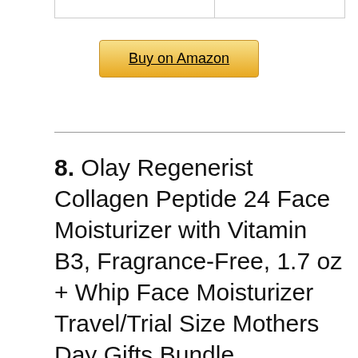[Figure (other): Partial table stub at top of page showing bottom border of a two-column table]
Buy on Amazon
8. Olay Regenerist Collagen Peptide 24 Face Moisturizer with Vitamin B3, Fragrance-Free, 1.7 oz + Whip Face Moisturizer Travel/Trial Size Mothers Day Gifts Bundle